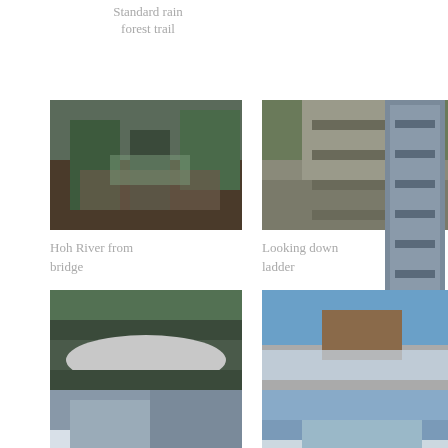Standard rain forest trail
[Figure (photo): Hoh River from bridge - trail photo]
Hoh River from bridge
[Figure (photo): Looking down ladder - trail photo]
Looking down ladder
[Figure (photo): Looking back up ladder - tall vertical photo]
Looking back up ladder
[Figure (photo): Ranger tent platform at Glacier Meadows]
Ranger tent platform at Glacier Meadows
[Figure (photo): First view of Blue Glacier]
First view of Blue Glacier
[Figure (photo): Crossing lower blue]
Crossing lower blue
[Figure (photo): Mountain snow scene 1]
[Figure (photo): Mountain snow scene 2]
[Figure (photo): Mountain snow scene 3]